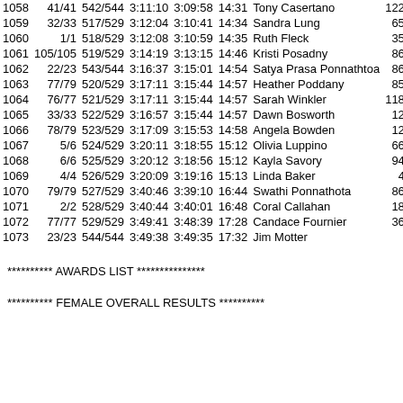| Place | Div | Overall | Gun | Chip | Pace | Name | Bib |
| --- | --- | --- | --- | --- | --- | --- | --- |
| 1058 | 41/41 | 542/544 | 3:11:10 | 3:09:58 | 14:31 | Tony Casertano | 122 |
| 1059 | 32/33 | 517/529 | 3:12:04 | 3:10:41 | 14:34 | Sandra Lung | 65 |
| 1060 | 1/1 | 518/529 | 3:12:08 | 3:10:59 | 14:35 | Ruth Fleck | 35 |
| 1061 | 105/105 | 519/529 | 3:14:19 | 3:13:15 | 14:46 | Kristi Posadny | 86 |
| 1062 | 22/23 | 543/544 | 3:16:37 | 3:15:01 | 14:54 | Satya Prasa Ponnathtoa | 86 |
| 1063 | 77/79 | 520/529 | 3:17:11 | 3:15:44 | 14:57 | Heather Poddany | 85 |
| 1064 | 76/77 | 521/529 | 3:17:11 | 3:15:44 | 14:57 | Sarah Winkler | 118 |
| 1065 | 33/33 | 522/529 | 3:16:57 | 3:15:44 | 14:57 | Dawn Bosworth | 12 |
| 1066 | 78/79 | 523/529 | 3:17:09 | 3:15:53 | 14:58 | Angela Bowden | 12 |
| 1067 | 5/6 | 524/529 | 3:20:11 | 3:18:55 | 15:12 | Olivia Luppino | 66 |
| 1068 | 6/6 | 525/529 | 3:20:12 | 3:18:56 | 15:12 | Kayla Savory | 94 |
| 1069 | 4/4 | 526/529 | 3:20:09 | 3:19:16 | 15:13 | Linda Baker | 4 |
| 1070 | 79/79 | 527/529 | 3:40:46 | 3:39:10 | 16:44 | Swathi Ponnathota | 86 |
| 1071 | 2/2 | 528/529 | 3:40:44 | 3:40:01 | 16:48 | Coral Callahan | 18 |
| 1072 | 77/77 | 529/529 | 3:49:41 | 3:48:39 | 17:28 | Candace Fournier | 36 |
| 1073 | 23/23 | 544/544 | 3:49:38 | 3:49:35 | 17:32 | Jim Motter |  |
********** AWARDS LIST ***************
********** FEMALE OVERALL RESULTS **********